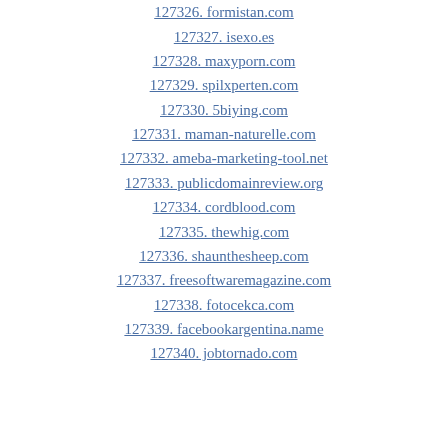127326. formistan.com
127327. isexo.es
127328. maxyporn.com
127329. spilxperten.com
127330. 5biying.com
127331. maman-naturelle.com
127332. ameba-marketing-tool.net
127333. publicdomainreview.org
127334. cordblood.com
127335. thewhig.com
127336. shaunthesheep.com
127337. freesoftwaremagazine.com
127338. fotocekca.com
127339. facebookargentina.name
127340. jobtornado.com